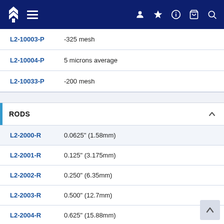Navigation bar with logo and icons
L2-10003-P   -325 mesh
L2-10004-P   5 microns average
L2-10033-P   -200 mesh
RODS
L2-2000-R   0.0625" (1.58mm)
L2-2001-R   0.125" (3.175mm)
L2-2002-R   0.250" (6.35mm)
L2-2003-R   0.500" (12.7mm)
L2-2004-R   0.625" (15.88mm)
L2-2005-R   0.750" (19.05mm)